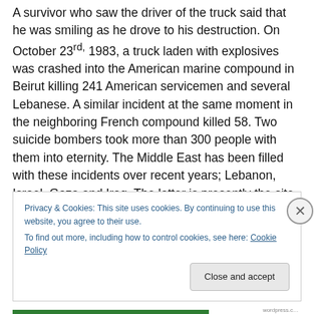A survivor who saw the driver of the truck said that he was smiling as he drove to his destruction. On October 23rd, 1983, a truck laden with explosives was crashed into the American marine compound in Beirut killing 241 American servicemen and several Lebanese. A similar incident at the same moment in the neighboring French compound killed 58. Two suicide bombers took more than 300 people with them into eternity. The Middle East has been filled with these incidents over recent years; Lebanon, Israel, Gaza and Iraq. The latter is presently the site of daily occurrences of this kind taking dozens, if not hundreds of
Privacy & Cookies: This site uses cookies. By continuing to use this website, you agree to their use.
To find out more, including how to control cookies, see here: Cookie Policy